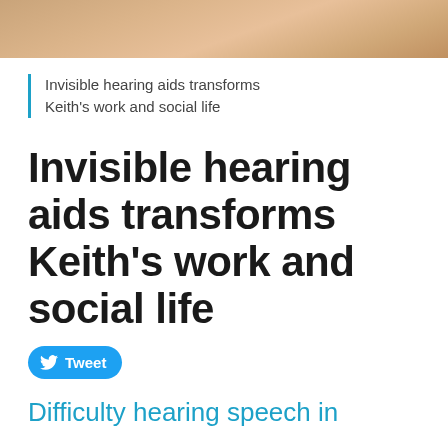[Figure (photo): Close-up photo of a person's ear/skin, cropped at top of page]
Invisible hearing aids transforms Keith's work and social life
Invisible hearing aids transforms Keith's work and social life
Tweet
Difficulty hearing speech in